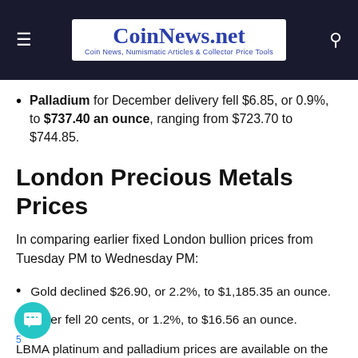CoinNews.net — Coin News, Numismatic Articles & Collector Price Tools
Palladium for December delivery fell $6.85, or 0.9%, to $737.40 an ounce, ranging from $723.70 to $744.85.
London Precious Metals Prices
In comparing earlier fixed London bullion prices from Tuesday PM to Wednesday PM:
Gold declined $26.90, or 2.2%, to $1,185.35 an ounce.
Silver fell 20 cents, or 1.2%, to $16.56 an ounce.
LBMA platinum and palladium prices are available on the LBMA's website with a delay of midnight.
US Mint Bullion Coin Sales in 2016